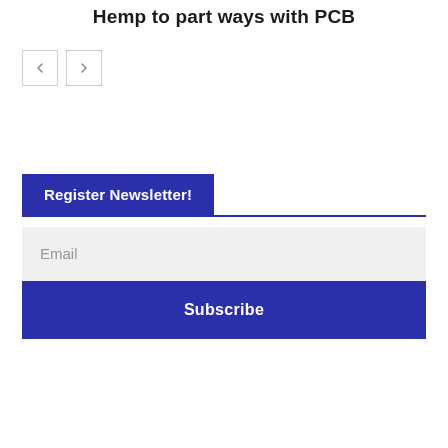Hemp to part ways with PCB
[Figure (other): Navigation buttons: left arrow and right arrow]
Register Newsletter!
Email
Subscribe